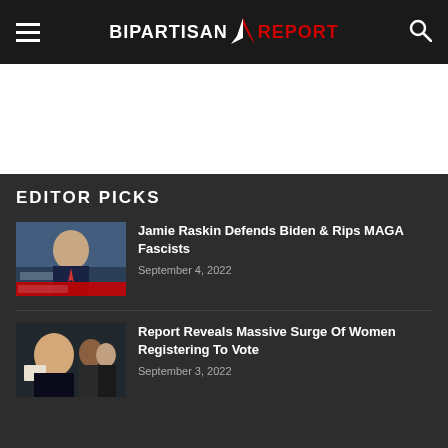BIPARTISAN REPORT
[Figure (other): White advertisement/banner area]
EDITOR PICKS
[Figure (photo): Jamie Raskin on TV news program, man in suit speaking]
Jamie Raskin Defends Biden & Rips MAGA Fascists
September 4, 2022
[Figure (photo): Man at hearing, dark background with people behind]
Report Reveals Massive Surge Of Women Registering To Vote
September 3, 2022